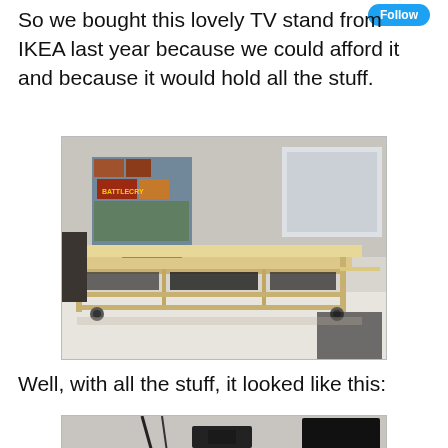So we bought this lovely TV stand from IKEA last year because we could afford it and because it would hold all the stuff.
[Figure (photo): An empty IKEA TV stand with shelves on casters, with board games and items visible in the background.]
Well, with all the stuff, it looked like this:
[Figure (photo): Partial view of the TV stand loaded with stuff, showing cables and electronics.]